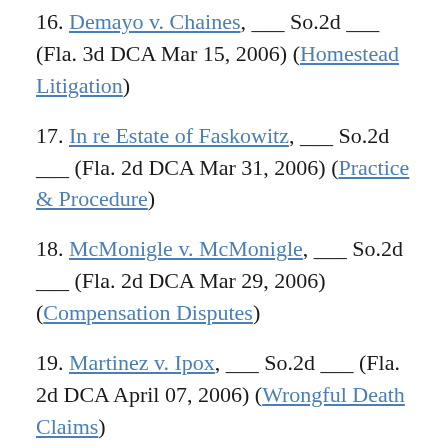16. Demayo v. Chaines, ___ So.2d ___ (Fla. 3d DCA Mar 15, 2006) (Homestead Litigation)
17. In re Estate of Faskowitz, ___ So.2d ___ (Fla. 2d DCA Mar 31, 2006) (Practice & Procedure)
18. McMonigle v. McMonigle, ___ So.2d ___ (Fla. 2d DCA Mar 29, 2006) (Compensation Disputes)
19. Martinez v. Ipox, ___ So.2d ___ (Fla. 2d DCA April 07, 2006) (Wrongful Death Claims)
20. Pastor v. Pastor, ___ So.2d ___ (Fla. 4th DCA April 19, 2006) (Will and Trust Contests)
21. Della Ratta v. Della Ratta, 2006 WL